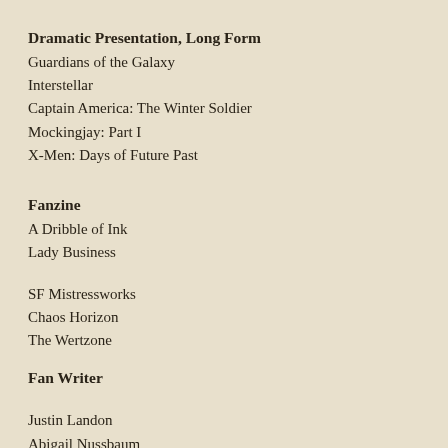Dramatic Presentation, Long Form
Guardians of the Galaxy
Interstellar
Captain America: The Winter Soldier
Mockingjay: Part I
X-Men: Days of Future Past
Fanzine
A Dribble of Ink
Lady Business
SF Mistressworks
Chaos Horizon
The Wertzone
Fan Writer
Justin Landon
Abigail Nussbaum